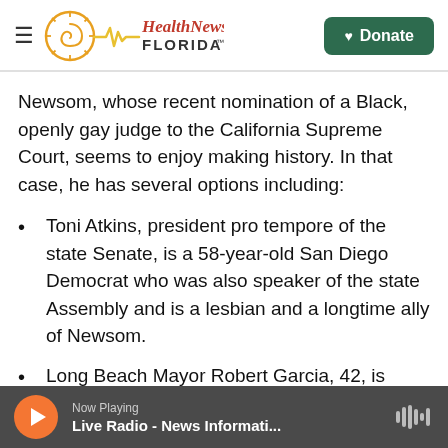Health News Florida — Donate
Newsom, whose recent nomination of a Black, openly gay judge to the California Supreme Court, seems to enjoy making history. In that case, he has several options including:
Toni Atkins, president pro tempore of the state Senate, is a 58-year-old San Diego Democrat who was also speaker of the state Assembly and is a lesbian and a longtime ally of Newsom.
Long Beach Mayor Robert Garcia, 42, is Latino (Peruvian American) and the city's first openly gay
Now Playing — Live Radio - News Informati...